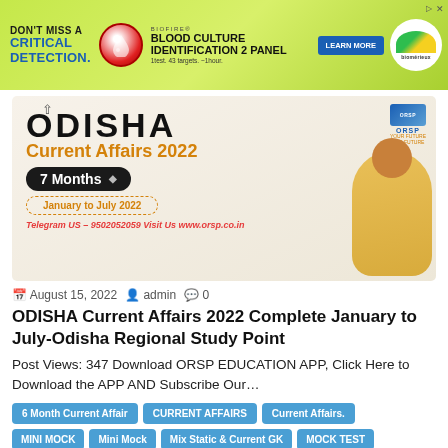[Figure (infographic): Advertisement banner for BIOFIRE Blood Culture Identification 2 Panel with 'DON'T MISS A CRITICAL DETECTION.' text and bioMérieux logo on green background]
[Figure (infographic): ODISHA Current Affairs 2022 promotional banner showing '7 Months January to July 2022' with map of Odisha and person in yellow shirt, ORSP logo, Telegram contact]
August 15, 2022  admin  0
ODISHA Current Affairs 2022 Complete January to July-Odisha Regional Study Point
Post Views: 347 Download ORSP EDUCATION APP, Click Here to Download the APP AND Subscribe Our…
6 Month Current Affair
CURRENT AFFAIRS
Current Affairs.
MINI MOCK
Mini Mock
Mix Static & Current GK
MOCK TEST